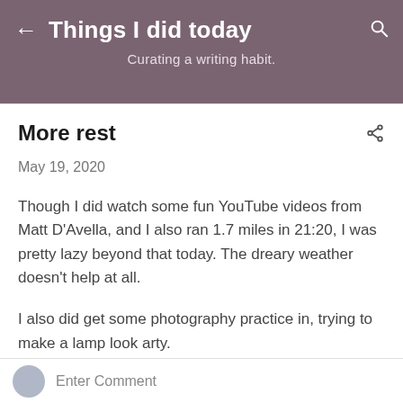Things I did today
Curating a writing habit.
More rest
May 19, 2020
Though I did watch some fun YouTube videos from Matt D'Avella, and I also ran 1.7 miles in 21:20, I was pretty lazy beyond that today. The dreary weather doesn't help at all.
I also did get some photography practice in, trying to make a lamp look arty.
Enter Comment